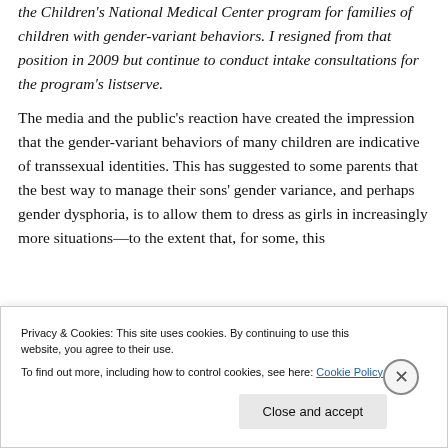the Children's National Medical Center program for families of children with gender-variant behaviors. I resigned from that position in 2009 but continue to conduct intake consultations for the program's listserve.
The media and the public's reaction have created the impression that the gender-variant behaviors of many children are indicative of transsexual identities. This has suggested to some parents that the best way to manage their sons' gender variance, and perhaps gender dysphoria, is to allow them to dress as girls in increasingly more situations—to the extent that, for some, this
Privacy & Cookies: This site uses cookies. By continuing to use this website, you agree to their use.
To find out more, including how to control cookies, see here: Cookie Policy